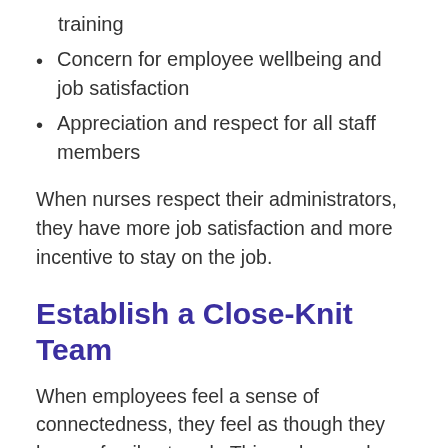training
Concern for employee wellbeing and job satisfaction
Appreciation and respect for all staff members
When nurses respect their administrators, they have more job satisfaction and more incentive to stay on the job.
Establish a Close-Knit Team
When employees feel a sense of connectedness, they feel as though they have a family at work. This makes work a more welcome place to come each day.